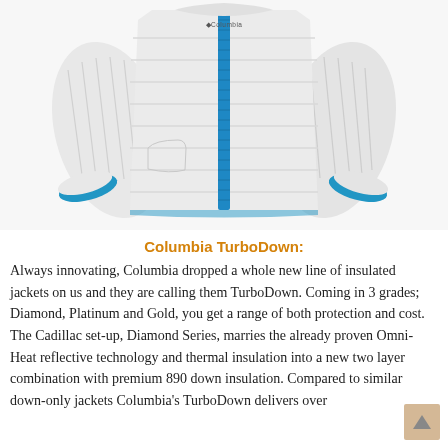[Figure (photo): A white Columbia TurboDown quilted insulated jacket with a blue zipper accent and blue cuff lining. The Columbia logo is visible on the chest. The jacket is displayed on an invisible mannequin against a white background.]
Columbia TurboDown:
Always innovating, Columbia dropped a whole new line of insulated jackets on us and they are calling them TurboDown.  Coming in 3 grades; Diamond, Platinum and Gold, you get a range of both protection and cost.  The Cadillac set-up, Diamond Series, marries the already proven Omni-Heat reflective technology and thermal insulation into a new two layer combination with premium 890 down insulation.  Compared to similar down-only jackets Columbia's TurboDown delivers over